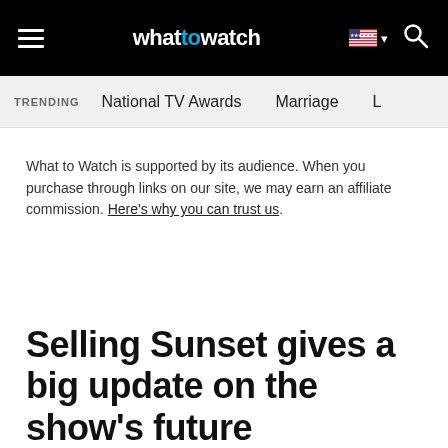whattowatch — navigation bar with hamburger menu, logo, US flag, search icon
TRENDING  National TV Awards  Marriage  L…
What to Watch is supported by its audience. When you purchase through links on our site, we may earn an affiliate commission. Here's why you can trust us.
Selling Sunset gives a big update on the show's future